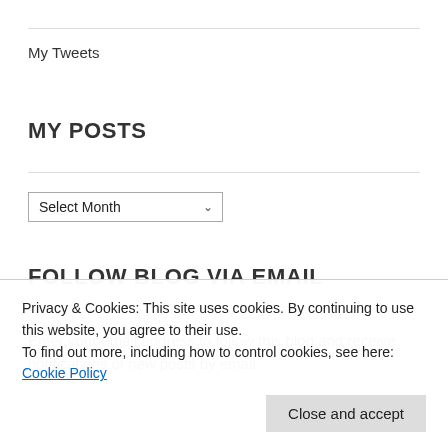My Tweets
MY POSTS
Select Month (dropdown)
FOLLOW BLOG VIA EMAIL
Enter your email address to follow this blog and receive notifications of new posts by email.
Privacy & Cookies: This site uses cookies. By continuing to use this website, you agree to their use. To find out more, including how to control cookies, see here: Cookie Policy
Close and accept